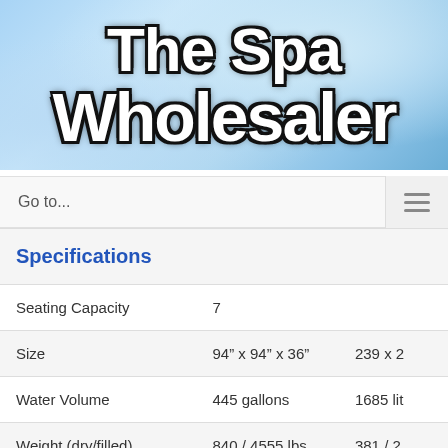[Figure (logo): The Spa Wholesaler logo with white bold text on blue water background]
Go to...
| Specifications |  |  |
| --- | --- | --- |
| Seating Capacity | 7 |  |
| Size | 94” x 94” x 36” | 239 x 2 |
| Water Volume | 445 gallons | 1685 lit |
| Weight (dry/filled) | 840 / 4555 lbs | 381 / 2 |
Jets: 45